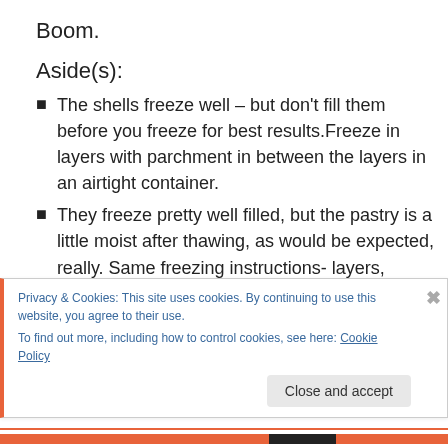Boom.
Aside(s):
The shells freeze well – but don't fill them before you freeze for best results.Freeze in layers with parchment in between the layers in an airtight container.
They freeze pretty well filled, but the pastry is a little moist after thawing, as would be expected, really. Same freezing instructions- layers, parchment, airtight.
Advertisements
Privacy & Cookies: This site uses cookies. By continuing to use this website, you agree to their use.
To find out more, including how to control cookies, see here: Cookie Policy